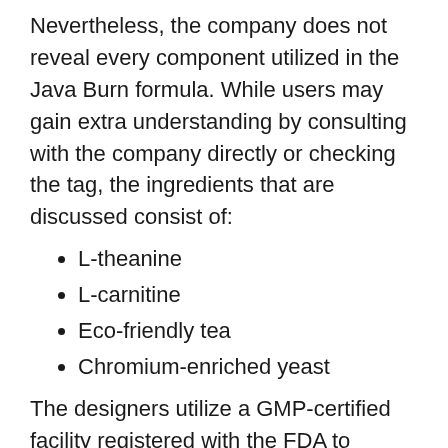Nevertheless, the company does not reveal every component utilized in the Java Burn formula. While users may gain extra understanding by consulting with the company directly or checking the tag, the ingredients that are discussed consist of:
L-theanine
L-carnitine
Eco-friendly tea
Chromium-enriched yeast
The designers utilize a GMP-certified facility registered with the FDA to prepare all of the components within the patent-pending formula. Continue reading below to learn more about what these four ingredients can do for individuals.